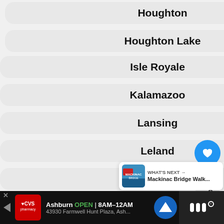Houghton
Houghton Lake
Isle Royale
Kalamazoo
Lansing
Leland
Ludington
Mackinac Island
Mackinaw City
Manistee
[Figure (screenshot): Heart/like button (blue circle with heart icon), count 17, share button]
WHAT'S NEXT → Mackinac Bridge Walk...
Ashburn OPEN 8AM–12AM 43930 Farmwell Hunt Plaza, Ash... (CVS Pharmacy ad)